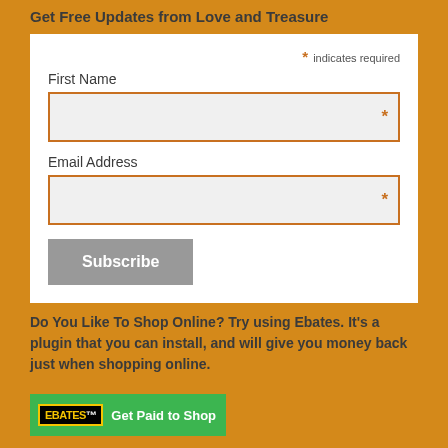Get Free Updates from Love and Treasure
* indicates required
First Name
Email Address
Subscribe
Do You Like To Shop Online? Try using Ebates. It's a plugin that you can install, and will give you money back just when shopping online.
[Figure (logo): Ebates 'Get Paid to Shop' green banner with Ebates logo]